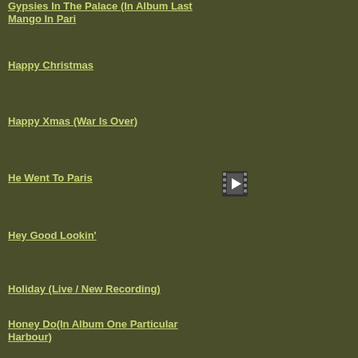Gypsies In The Palace (In Album Last Mango In Pari
Happy Christmas
Happy Xmas (War Is Over)
He Went To Paris
Hey Good Lookin'
Holiday (Live / New Recording)
Honey Do(In Album One Particular Harbour)
I'll Be Home For Christmas
If I Had A Boat
In The City
In The Shelter ( In Album High Cumberland Jubilee)
It's All About The Water
It's Midnight And I'm Not Famous Yet
Jingle Bells
Just An Old Truth Teller
Happily Ever After (No...
Happy Christmas (War...
Havana Daydreamin'
Here We Are
Ho, Ho, Ho, And A Bott...
Honey Do
I Wish Lunch Could La...
If I Could Just Get It O...
If The Phone Doesn't R...
In The Shelter
Island
It's Five O'clock Somew...
Jamaica Mistaica
Jolly Mon
Kick It In Second Wind...